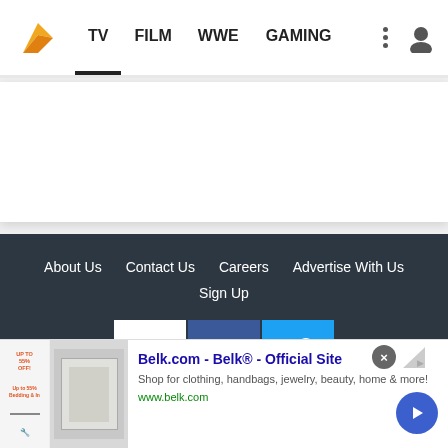TV | FILM | WWE | GAMING
[Figure (screenshot): Gray content area with white card/block in the middle, below navigation bar]
About Us   Contact Us   Careers   Advertise With Us   Sign Up
[Figure (illustration): Social media icons: YouTube (white background with red play button), Facebook (blue with white f), Twitter (light blue with white bird)]
Belk.com - Belk® - Official Site
Shop for clothing, handbags, jewelry, beauty, home & more!
www.belk.com